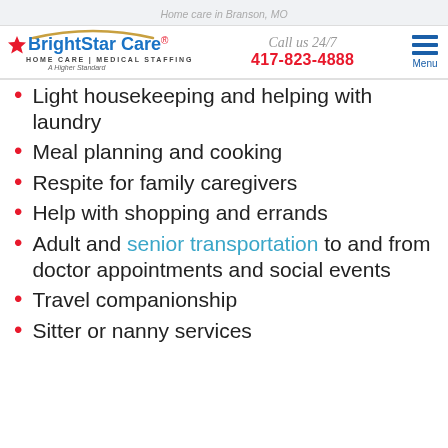Home care in Branson, MO
[Figure (logo): BrightStar Care logo with star, HOME CARE | MEDICAL STAFFING, A Higher Standard tagline]
Call us 24/7
417-823-4888
Light housekeeping and helping with laundry
Meal planning and cooking
Respite for family caregivers
Help with shopping and errands
Adult and senior transportation to and from doctor appointments and social events
Travel companionship
Sitter or nanny services